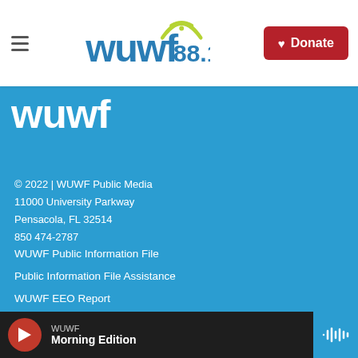WUWF 88.1 — navigation bar with hamburger menu, logo, and Donate button
[Figure (logo): WUWF 88.1 logo in blue and green on white background]
[Figure (logo): WUWF logo in white on blue background]
© 2022 | WUWF Public Media
11000 University Parkway
Pensacola, FL 32514
850 474-2787
WUWF Public Information File
Public Information File Assistance
WUWF EEO Report
About Us
Donate Now
WUWF  Morning Edition